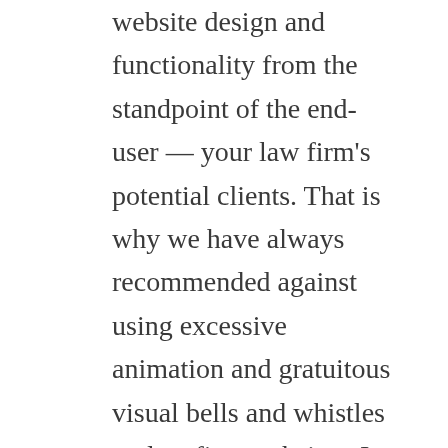website design and functionality from the standpoint of the end-user — your law firm's potential clients. That is why we have always recommended against using excessive animation and gratuitous visual bells and whistles on law firm websites. It is also why attorneys who have previously spent thousands of dollars on custom website design work elsewhere routinely experience better engagement from viable potential clients — and better marketing ROI — when they switch their website to LawLytics. So, despite the fact